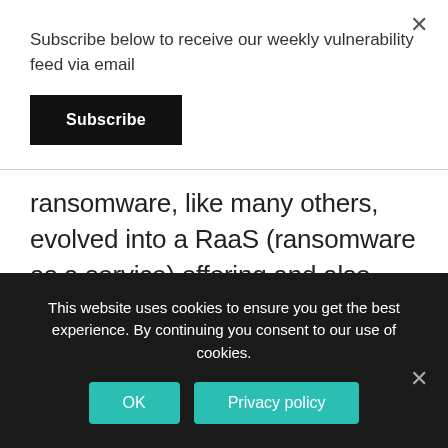Subscribe below to receive our weekly vulnerability feed via email
Subscribe
ransomware, like many others, evolved into a RaaS (ransomware as a service) offering and also incorporated data leakage extortion into its repertoire. SentinelLabs revealed affiliate preconditions,
This website uses cookies to ensure you get the best experience. By continuing you consent to our use of cookies.
OK
Privacy policy